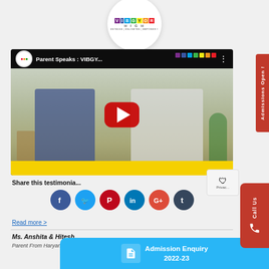[Figure (logo): VIBGYOR HIGH school logo with rainbow colored letters and tagline ENTHUSE | ENLIGHTEN | EMPOWER]
[Figure (screenshot): YouTube video thumbnail showing 'Parent Speaks : VIBGY...' with two people seated at a yellow desk, with a red play button overlay]
Share this testimonia...
[Figure (infographic): Social media share icons: Facebook, Twitter, Pinterest, LinkedIn, Google+, Tumblr]
Read more >
Ms. Anshita & Hitesh
Parent From Haryana (G...
[Figure (infographic): Blue Admission Enquiry 2022-23 banner at bottom of page]
Admissions Open !
Call Us